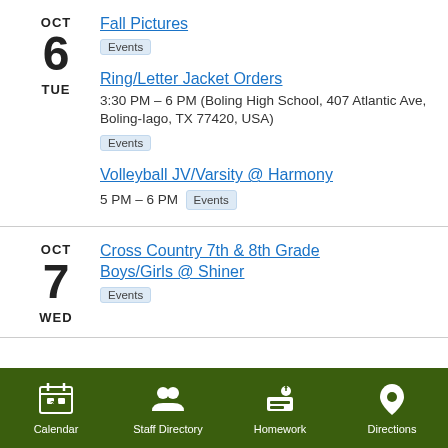OCT 6 TUE — Fall Pictures — Events
OCT 6 TUE — Ring/Letter Jacket Orders — 3:30 PM – 6 PM (Boling High School, 407 Atlantic Ave, Boling-Iago, TX 77420, USA) — Events
OCT 6 TUE — Volleyball JV/Varsity @ Harmony — 5 PM – 6 PM — Events
OCT 7 WED — Cross Country 7th & 8th Grade Boys/Girls @ Shiner — Events
Calendar  Staff Directory  Homework  Directions